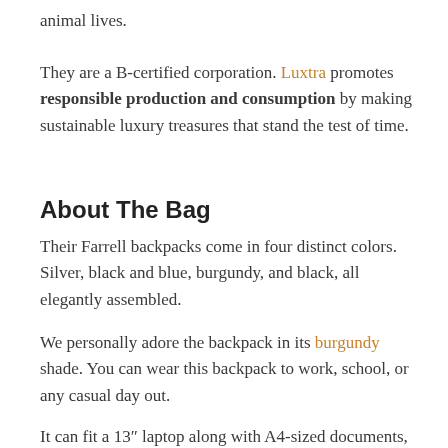animal lives.
They are a B-certified corporation. Luxtra promotes responsible production and consumption by making sustainable luxury treasures that stand the test of time.
About The Bag
Their Farrell backpacks come in four distinct colors. Silver, black and blue, burgundy, and black, all elegantly assembled.
We personally adore the backpack in its burgundy shade. You can wear this backpack to work, school, or any casual day out.
It can fit a 13″ laptop along with A4-sized documents, so